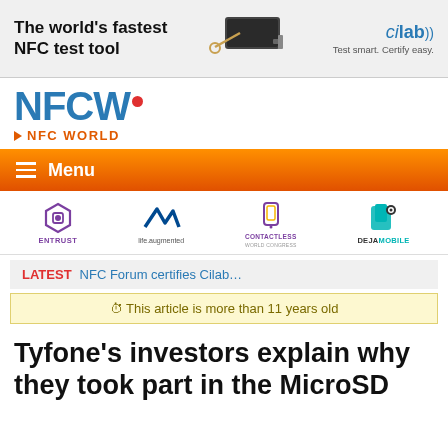[Figure (illustration): Advertisement banner: 'The world's fastest NFC test tool' with device image and cilab logo with tagline 'Test smart. Certify easy.']
[Figure (logo): NFCW. NFC WORLD logo in blue with orange dot and orange NFC WORLD label]
Menu
[Figure (logo): Four sponsor logos: Entrust, ST life.augmented, Contactless World Congress, DejaМobile]
LATEST NFC Forum certifies Cilab…
⏱ This article is more than 11 years old
Tyfone's investors explain why they took part in the MicroSD